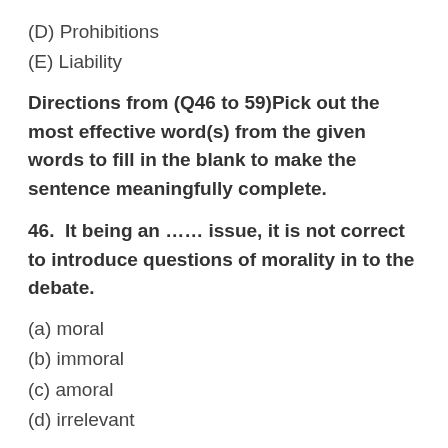(D) Prohibitions
(E) Liability
Directions from (Q46 to 59)Pick out the most effective word(s) from the given words to fill in the blank to make the sentence meaningfully complete.
46.  It being an …… issue, it is not correct to introduce questions of morality in to the debate.
(a) moral
(b) immoral
(c) amoral
(d) irrelevant